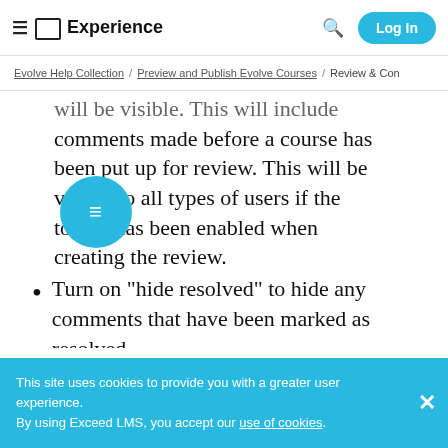≡ □ Experience  🔍  Log In
Evolve Help Collection / Preview and Publish Evolve Courses / Review & Con…
will be visible. This will include comments made before a course has been put up for review. This will be visible to all types of users if the toggle has been enabled when creating the review.
Turn on "hide resolved" to hide any comments that have been marked as resolved.
This site uses cookies to provide you with a greater user experience. By using Exceed LMS, you accept our use of cookies.